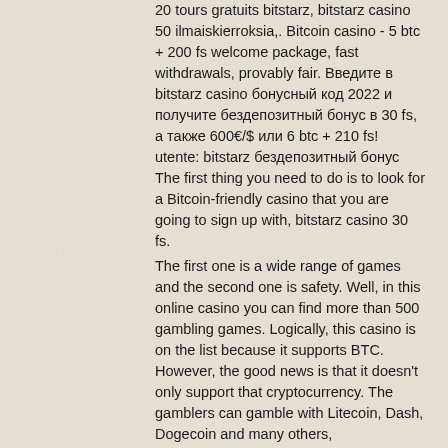20 tours gratuits bitstarz, bitstarz casino 50 ilmaiskierroksia,. Bitcoin casino - 5 btc + 200 fs welcome package, fast withdrawals, provably fair. Введите в bitstarz casino бонусный код 2022 и получите бездепозитный бонус в 30 fs, а также 600€/$ или 6 btc + 210 fs! utente: bitstarz бездепозитный бонус The first thing you need to do is to look for a Bitcoin-friendly casino that you are going to sign up with, bitstarz casino 30 fs.
The first one is a wide range of games and the second one is safety. Well, in this online casino you can find more than 500 gambling games. Logically, this casino is on the list because it supports BTC. However, the good news is that it doesn't only support that cryptocurrency. The gamblers can gamble with Litecoin, Dash, Dogecoin and many others, bitstarz28.com/ru.
100% + 180 fs. Bonus: 30 free spins &amp;quot;no deposit bonus&amp;quot;.